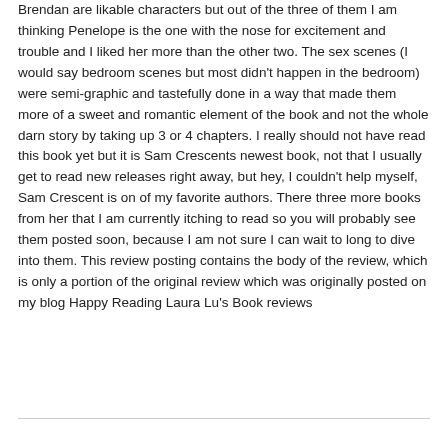Brendan are likable characters but out of the three of them I am thinking Penelope is the one with the nose for excitement and trouble and I liked her more than the other two. The sex scenes (I would say bedroom scenes but most didn't happen in the bedroom) were semi-graphic and tastefully done in a way that made them more of a sweet and romantic element of the book and not the whole darn story by taking up 3 or 4 chapters. I really should not have read this book yet but it is Sam Crescents newest book, not that I usually get to read new releases right away, but hey, I couldn't help myself, Sam Crescent is on of my favorite authors. There three more books from her that I am currently itching to read so you will probably see them posted soon, because I am not sure I can wait to long to dive into them. This review posting contains the body of the review, which is only a portion of the original review which was originally posted on my blog Happy Reading Laura Lu's Book reviews